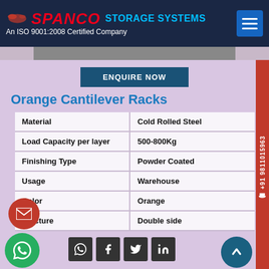SPANCO STORAGE SYSTEMS — An ISO 9001:2008 Certified Company
ENQUIRE NOW
Orange Cantilever Racks
| Property | Value |
| --- | --- |
| Material | Cold Rolled Steel |
| Load Capacity per layer | 500-800Kg |
| Finishing Type | Powder Coated |
| Usage | Warehouse |
| Color | Orange |
| Stucture | Double side |